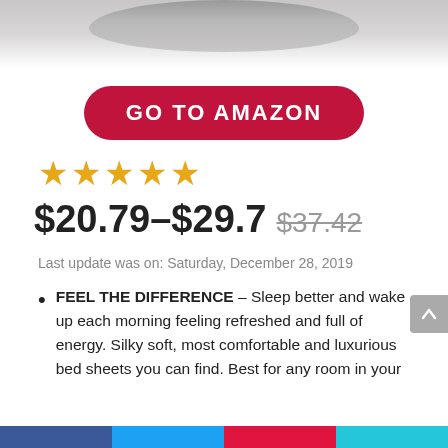[Figure (photo): Product image showing a gray pillow/bedding item, partially cropped at top]
GO TO AMAZON
★★★★★
$20.79–$29.7 $37.42
Last update was on: Saturday, December 28, 2019
FEEL THE DIFFERENCE – Sleep better and wake up each morning feeling refreshed and full of energy. Silky soft, most comfortable and luxurious bed sheets you can find. Best for any room in your